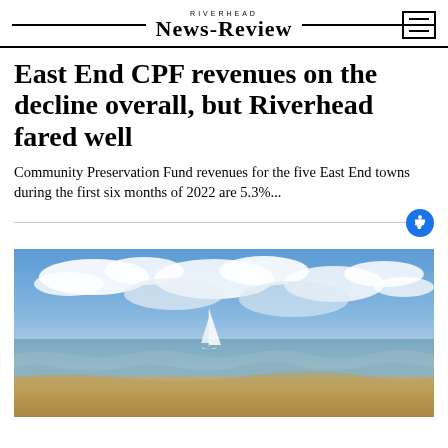RIVERHEAD NEWS-REVIEW
East End CPF revenues on the decline overall, but Riverhead fared well
Community Preservation Fund revenues for the five East End towns during the first six months of 2022 are 5.3%...
[Figure (photo): Coastal beach scene with sandy waves in the foreground and a sailboat on calm water in the middle distance under a partly cloudy blue sky]